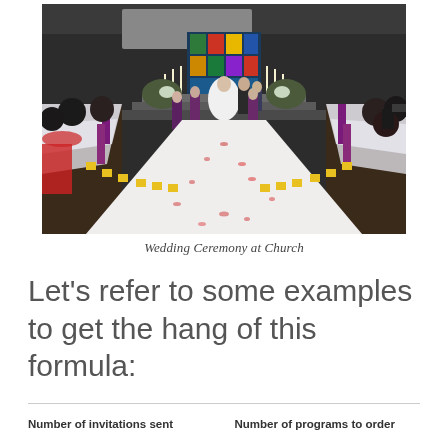[Figure (photo): Wedding ceremony inside a church. A bride in a white gown stands at the altar with the groom and officiant. Bridesmaids in purple dresses flank the couple. Pews decorated with white draping and purple ribbons line the aisle. Rose petals scattered on a white aisle runner. Small yellow candle lights border the aisle. A stained glass window is visible at the front.]
Wedding Ceremony at Church
Let's refer to some examples to get the hang of this formula:
| Number of invitations sent | Number of programs to order |
| --- | --- |